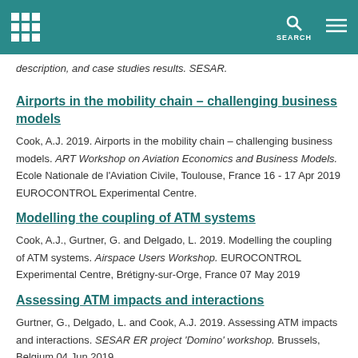description, and case studies results. SESAR.
Airports in the mobility chain – challenging business models
Cook, A.J. 2019. Airports in the mobility chain – challenging business models. ART Workshop on Aviation Economics and Business Models. Ecole Nationale de l'Aviation Civile, Toulouse, France 16 - 17 Apr 2019 EUROCONTROL Experimental Centre.
Modelling the coupling of ATM systems
Cook, A.J., Gurtner, G. and Delgado, L. 2019. Modelling the coupling of ATM systems. Airspace Users Workshop. EUROCONTROL Experimental Centre, Brétigny-sur-Orge, France 07 May 2019
Assessing ATM impacts and interactions
Gurtner, G., Delgado, L. and Cook, A.J. 2019. Assessing ATM impacts and interactions. SESAR ER project 'Domino' workshop. Brussels, Belgium 04 Jun 2019